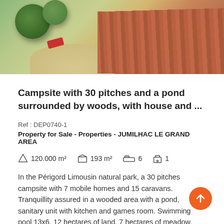[Figure (photo): Aerial view of a campsite property showing trees, a tiled roof building, driveway with a red car, and surrounding grounds]
Campsite with 30 pitches and a pond surrounded by woods, with house and ...
Ref : DEP0740-1
Property for Sale - Properties - JUMILHAC LE GRAND AREA
120.000 m²  193 m²  6  1
In the Périgord Limousin natural park, a 30 pitches campsite with 7 mobile homes and 15 caravans. Tranquillity assured in a wooded area with a pond, sanitary unit with kitchen and games room. Swimming pool 13x6. 12 hectares of land, 7 hectares of meadow,